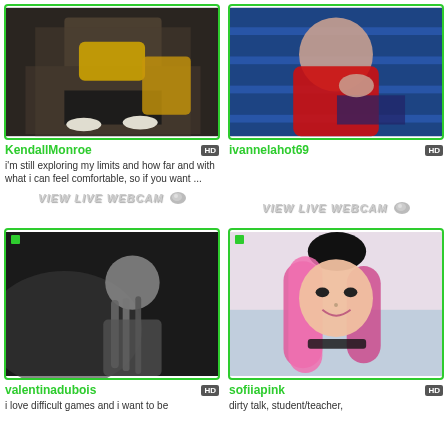[Figure (photo): Woman in yellow top sitting on bed with fishnet tights]
KendallMonroe
i'm still exploring my limits and how far and with what i can feel comfortable, so if you want ...
VIEW LIVE WEBCAM
[Figure (photo): Woman in red swimsuit lying down]
ivannelahot69
VIEW LIVE WEBCAM
[Figure (photo): Black and white photo of woman with braids]
valentinadubois
i love difficult games and i want to be
[Figure (photo): Woman with pink and black hair smiling]
sofiiapink
dirty talk, student/teacher,